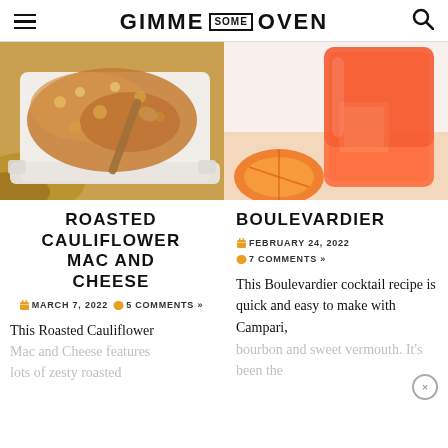GIMME SOME OVEN
[Figure (photo): Overhead view of roasted cauliflower mac and cheese in a white baking dish with a wooden spoon]
[Figure (photo): Close-up of a Boulevardier cocktail in a glass with ice and an orange slice on a light surface]
ROASTED CAULIFLOWER MAC AND CHEESE
MARCH 7, 2022  5 COMMENTS »
This Roasted Cauliflower Mac and Cheese features lots of zesty roasted
BOULEVARDIER
FEBRUARY 24, 2022  7 COMMENTS »
This Boulevardier cocktail recipe is quick and easy to make with Campari, bourbon and sweet vermouth. It's been the